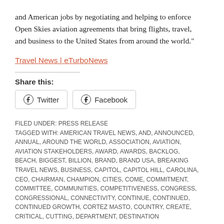and American jobs by negotiating and helping to enforce Open Skies aviation agreements that bring flights, travel, and business to the United States from around the world."
Travel News | eTurboNews
Share this:
Twitter  Facebook
FILED UNDER: PRESS RELEASE
TAGGED WITH: AMERICAN TRAVEL NEWS, AND, ANNOUNCED, ANNUAL, AROUND THE WORLD, ASSOCIATION, AVIATION, AVIATION STAKEHOLDERS, AWARD, AWARDS, BACKLOG, BEACH, BIGGEST, BILLION, BRAND, BRAND USA, BREAKING TRAVEL NEWS, BUSINESS, CAPITOL, CAPITOL HILL, CAROLINA, CEO, CHAIRMAN, CHAMPION, CITIES, COME, COMMITMENT, COMMITTEE, COMMUNITIES, COMPETITIVENESS, CONGRESS, CONGRESSIONAL, CONNECTIVITY, CONTINUE, CONTINUED, CONTINUED GROWTH, CORTEZ MASTO, COUNTRY, CREATE, CRITICAL, CUTTING, DEPARTMENT, DESTINATION